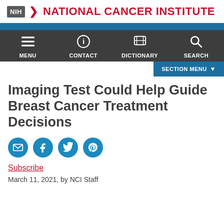[Figure (logo): NIH National Cancer Institute logo with NIH badge and red chevron]
MENU  CONTACT  DICTIONARY  SEARCH
SECTION MENU
Imaging Test Could Help Guide Breast Cancer Treatment Decisions
[Figure (infographic): Social share icons: email, Facebook, Twitter, Pinterest]
Subscribe
March 11, 2021, by NCI Staff